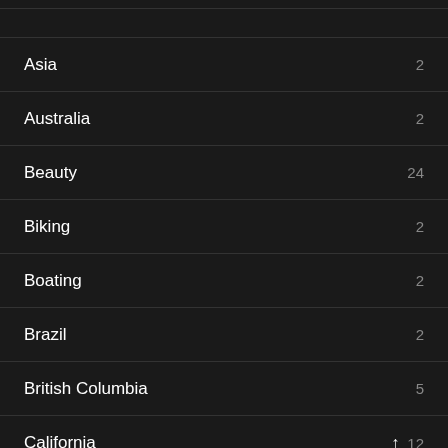Asia 2
Australia 2
Beauty 24
Biking 2
Boating 2
Brazil 2
British Columbia 5
California 12